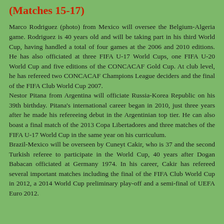(Matches 15-17)
Marco Rodriguez (photo) from Mexico will oversee the Belgium-Algeria game. Rodriguez is 40 years old and will be taking part in his third World Cup, having handled a total of four games at the 2006 and 2010 editions. He has also officiated at three FIFA U-17 World Cups, one FIFA U-20 World Cup and five editions of the CONCACAF Gold Cup. At club level, he has refereed two CONCACAF Champions League deciders and the final of the FIFA Club World Cup 2007.
Nestor Pitana from Argentina will officiate Russia-Korea Republic on his 39th birthday. Pitana's international career began in 2010, just three years after he made his refereeing debut in the Argentinian top tier. He can also boast a final match of the 2013 Copa Libertadores and three matches of the FIFA U-17 World Cup in the same year on his curriculum.
Brazil-Mexico will be overseen by Cuneyt Cakir, who is 37 and the second Turkish referee to participate in the World Cup, 40 years after Dogan Babacan officiated at Germany 1974. In his career, Cakir has refereed several important matches including the final of the FIFA Club World Cup in 2012, a 2014 World Cup preliminary play-off and a semi-final of UEFA Euro 2012.